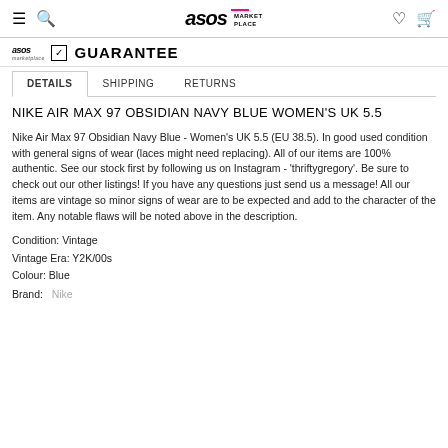ASOS MARKETPLACE — navigation header with hamburger, search, logo, heart, and cart icons
asos marketplace GUARANTEE
DETAILS  SHIPPING  RETURNS
NIKE AIR MAX 97 OBSIDIAN NAVY BLUE WOMEN'S UK 5.5
Nike Air Max 97 Obsidian Navy Blue - Women's UK 5.5 (EU 38.5). In good used condition with general signs of wear (laces might need replacing). All of our items are 100% authentic. See our stock first by following us on Instagram - 'thriftygregory'. Be sure to check out our other listings! If you have any questions just send us a message! All our items are vintage so minor signs of wear are to be expected and add to the character of the item. Any notable flaws will be noted above in the description.
Condition: Vintage
Vintage Era: Y2K/00s
Colour: Blue
Brand:   Nike